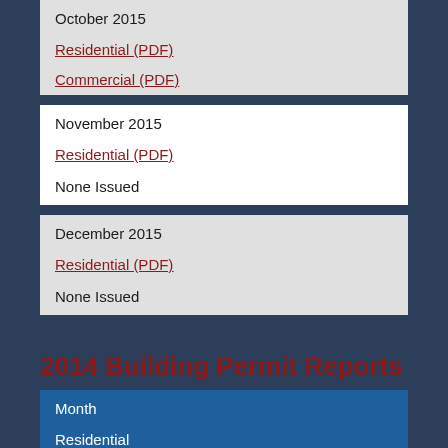October 2015
Residential (PDF)
Commercial (PDF)
November 2015
Residential (PDF)
None Issued
December 2015
Residential (PDF)
None Issued
2014 Building Permit Reports
| Month | Residential |
| --- | --- |